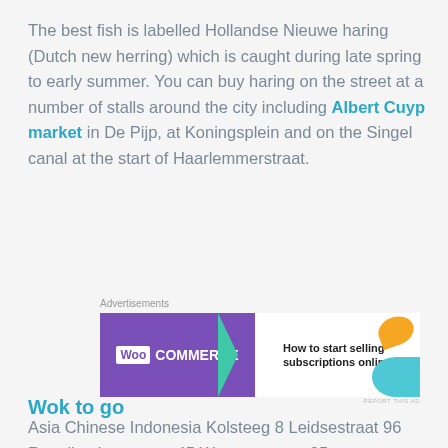The best fish is labelled Hollandse Nieuwe haring (Dutch new herring) which is caught during late spring to early summer. You can buy haring on the street at a number of stalls around the city including Albert Cuyp market in De Pijp, at Koningsplein and on the Singel canal at the start of Haarlemmerstraat.
[Figure (other): WooCommerce advertisement banner: 'How to start selling subscriptions online']
Wok to go
Asia Chinese Indonesia Kolsteeg 8 Leidsestraat 96 Reguliersbreestraat 45 Wamoesstraat 85